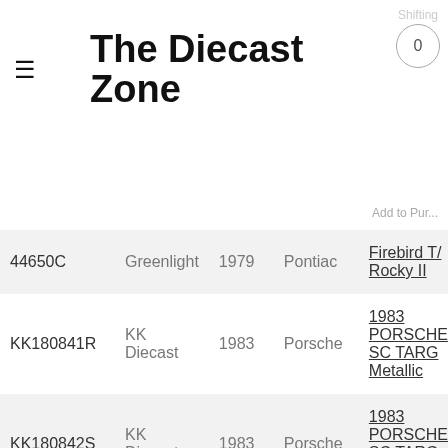The Diecast Zone
| SKU | Brand | Year | Make | Model |
| --- | --- | --- | --- | --- |
| 44650C | Greenlight | 1979 | Pontiac | Firebird T/ Rocky II |
| KK180841R | KK Diecast | 1983 | Porsche | 1983 PORSCHE SC TARG Metallic |
| KK180842S | KK Diecast | 1983 | Porsche | 1983 PORSCHE SC TARG Silver |
| KK180661R | KK Diecast | 1983 | Porsche | 1983 PORSCHE |